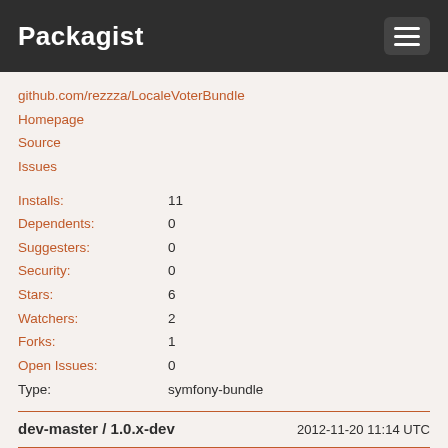Packagist
github.com/rezzza/LocaleVoterBundle
Homepage
Source
Issues
Installs: 11
Dependents: 0
Suggesters: 0
Security: 0
Stars: 6
Watchers: 2
Forks: 1
Open Issues: 0
Type: symfony-bundle
dev-master / 1.0.x-dev    2012-11-20 11:14 UTC
requires